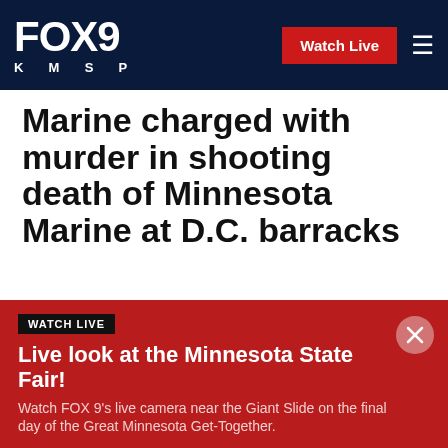FOX 9 KMSP | Watch Live
Marine charged with murder in shooting death of Minnesota Marine at D.C. barracks
Published August 3, 2019 | News | FOX 9 Minneapolis-St. Paul
[Figure (other): Social media share icons: Facebook, Twitter, Print, Email]
WATCH LIVE
Live look at the Minnesota State Fair!
Watch FOX 9's live camera near the Giant Slide on the final day of the Great Minnesota Get-Together.